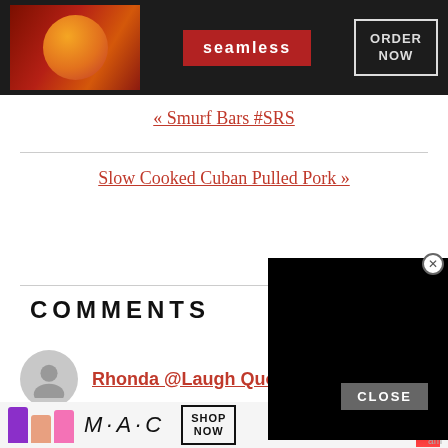[Figure (screenshot): Seamless food delivery advertisement banner with pizza image, 'seamless' brand name, and 'ORDER NOW' button on dark background]
« Smurf Bars #SRS
Slow Cooked Cuban Pulled Pork »
COMMENTS
[Figure (screenshot): Black video overlay panel with close (X) button]
Rhonda @Laugh Quotes
[Figure (screenshot): MAC cosmetics advertisement banner with lipsticks, MAC logo, and 'SHOP NOW' button]